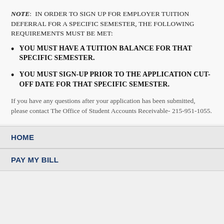NOTE: IN ORDER TO SIGN UP FOR EMPLOYER TUITION DEFERRAL FOR A SPECIFIC SEMESTER, THE FOLLOWING REQUIREMENTS MUST BE MET:
YOU MUST HAVE A TUITION BALANCE FOR THAT SPECIFIC SEMESTER.
YOU MUST SIGN-UP PRIOR TO THE APPLICATION CUT-OFF DATE FOR THAT SPECIFIC SEMESTER.
If you have any questions after your application has been submitted, please contact The Office of Student Accounts Receivable- 215-951-1055.
HOME
PAY MY BILL